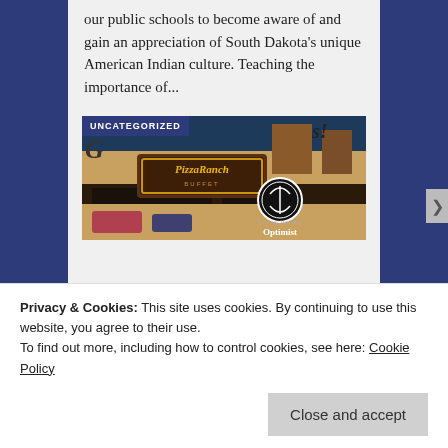our public schools to become aware of and gain an appreciation of South Dakota's unique American Indian culture. Teaching the importance of...
[Figure (photo): Photo of a Pizza Ranch restaurant exterior at night with a Sioux Valley Optimist logo overlay. Category label 'UNCATEGORIZED' shown in dark blue banner.]
Privacy & Cookies: This site uses cookies. By continuing to use this website, you agree to their use.
To find out more, including how to control cookies, see here: Cookie Policy
Close and accept